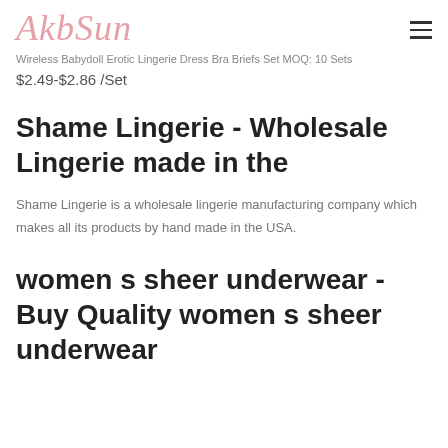[Figure (logo): AkbSun cursive pink script logo]
Wireless Babydoll Erotic Lingerie Dress Bra Briefs Set MOQ: 10 Sets
$2.49-$2.86 /Set
Shame Lingerie - Wholesale Lingerie made in the
Shame Lingerie is a wholesale lingerie manufacturing company which makes all its products by hand made in the USA.
women s sheer underwear - Buy Quality women s sheer underwear